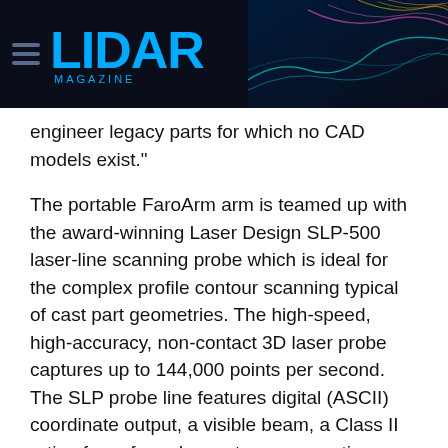LIDAR MAGAZINE
engineer legacy parts for which no CAD models exist."
The portable FaroArm arm is teamed up with the award-winning Laser Design SLP-500 laser-line scanning probe which is ideal for the complex profile contour scanning typical of cast part geometries. The high-speed, high-accuracy, non-contact 3D laser probe captures up to 144,000 points per second. The SLP probe line features digital (ASCII) coordinate output, a visible beam, a Class II rating for safe and easy-to-see operations and a long standoff to prevent crashes during part scanning. It also...